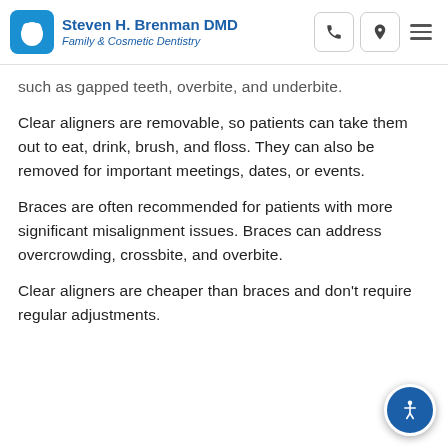Steven H. Brenman DMD Family & Cosmetic Dentistry
such as gapped teeth, overbite, and underbite.
Clear aligners are removable, so patients can take them out to eat, drink, brush, and floss. They can also be removed for important meetings, dates, or events.
Braces are often recommended for patients with more significant misalignment issues. Braces can address overcrowding, crossbite, and overbite.
Clear aligners are cheaper than braces and don't require regular adjustments.